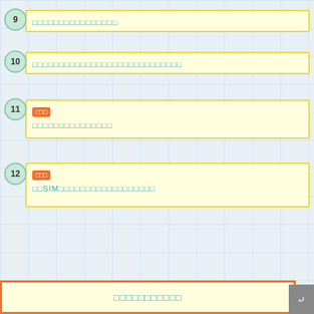9 [Thai text block - item 9]
10 [Thai text block - item 10]
11 [NEW] [Thai text block - item 11]
12 [NEW] [Thai SIM text block - item 12]
[Thai navigation/summary bar]